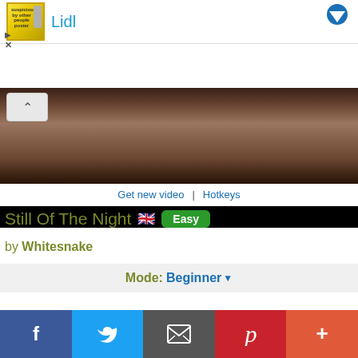[Figure (screenshot): Ad banner with Lidl logo and brand name, with a blue arrow button top right]
[Figure (photo): Video player showing a close-up of a person's face with long blonde hair, lower portion blacked out, with a collapse/chevron button overlay]
Get new video  |  Hotkeys
Still Of The Night 🇬🇧 Easy
by Whitesnake
Mode: Beginner
[Figure (screenshot): Social sharing bar with Facebook, Twitter, Email, Pinterest, and More buttons]